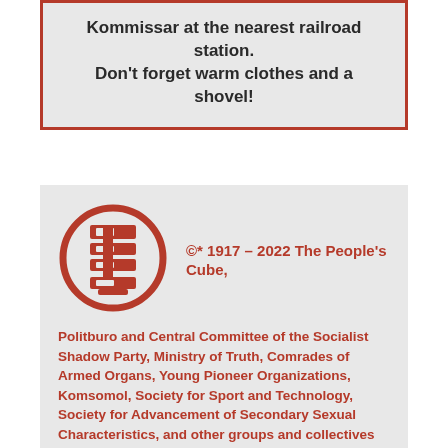Kommissar at the nearest railroad station. Don't forget warm clothes and a shovel!
[Figure (logo): People's Cube logo: red circle with stylized cube/P symbol inside]
©* 1917 – 2022 The People's Cube,
Politburo and Central Committee of the Socialist Shadow Party, Ministry of Truth, Comrades of Armed Organs, Young Pioneer Organizations, Komsomol, Society for Sport and Technology, Society for Advancement of Secondary Sexual Characteristics, and other groups and collectives of our great Socialist American Motherland.
* People's Property notification (known as copyright in the